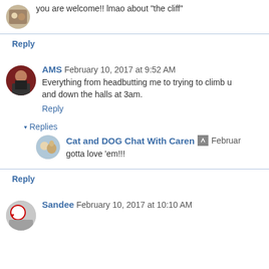you are welcome!! lmao about "the cliff"
Reply
AMS  February 10, 2017 at 9:52 AM
Everything from headbutting me to trying to climb u and down the halls at 3am.
Reply
Replies
Cat and DOG Chat With Caren  February
gotta love 'em!!!
Reply
Sandee  February 10, 2017 at 10:10 AM